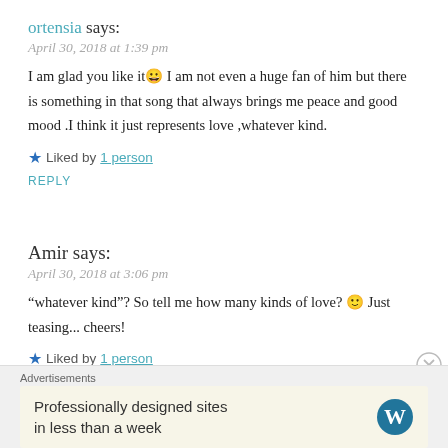ortensia says:
April 30, 2018 at 1:39 pm
I am glad you like it 😀 I am not even a huge fan of him but there is something in that song that always brings me peace and good mood .I think it just represents love ,whatever kind.
★ Liked by 1 person
REPLY
Amir says:
April 30, 2018 at 3:06 pm
“whatever kind”? So tell me how many kinds of love? 🙂 Just teasing... cheers!
★ Liked by 1 person
Advertisements
Professionally designed sites in less than a week